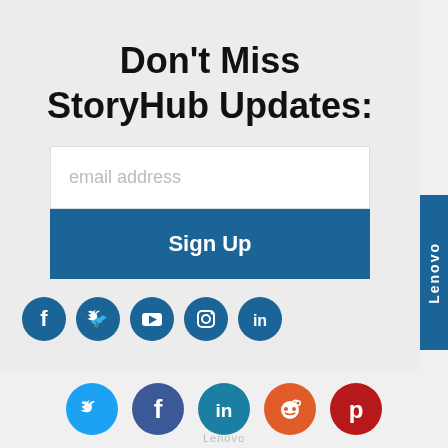Don't Miss StoryHub Updates:
email address
Sign Up
[Figure (infographic): Row of 5 social media icon circles (Facebook, Twitter, YouTube, Instagram, LinkedIn) in teal/dark blue]
[Figure (infographic): Lenovo vertical tab on right side]
[Figure (infographic): Bottom row of 5 social media icons: Twitter (blue), Facebook (dark blue/purple), LinkedIn (teal), Reddit (orange), Pinterest (dark red)]
Lenovo